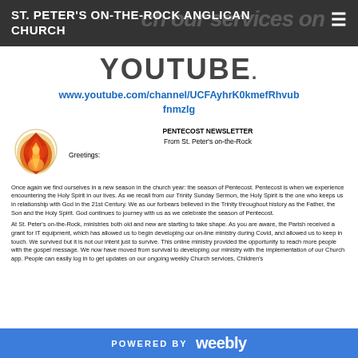ST. PETER'S ON-THE-ROCK ANGLICAN CHURCH
YOUTUBE
www.youtube.com/channel/UCFAyhrK0kmefRhvubfnmzlg
[Figure (illustration): Flame/fire emblem icon for Pentecost newsletter from St. Peter's on-the-Rock]
PENTECOST NEWSLETTER
From St. Peter's on-the-Rock
Greetings:
Once again we find ourselves in a new season in the church year: the season of Pentecost. Pentecost is when we experience encountering the Holy Spirit in our lives. As we recall from our Trinity Sunday Sermon, the Holy Spirit is the one who keeps us in relationship with God in the 21st Century. We as our forbears believed in the Trinity throughout history as the Father, the Son and the Holy Spirit. God continues to journey with us as we celebrate the season of Pentecost.
At St. Peter's on-the-Rock, ministries both old and new are starting to take shape. As you are aware, the Parish received a grant for IT equipment, which has allowed us to begin developing our on-line ministry during Covid, and allowed us to keep in touch. We survived but it is not our intent just to survive. This online ministry provided the opportunity to reach more people with the gospel message. We now have moved from survival to developing our ministry with the implementation of our Church app. People can easily log in to get updates on our ongoing weekly Church services, Children's
POWERED BY weebly